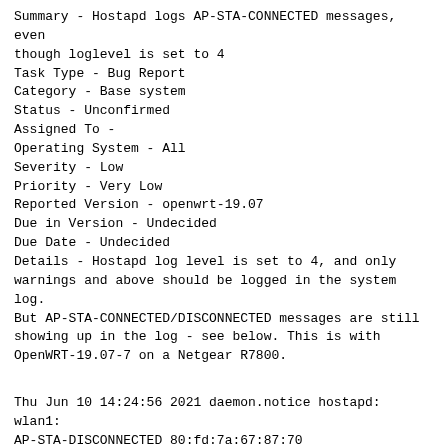Summary - Hostapd logs AP-STA-CONNECTED messages, even though loglevel is set to 4
Task Type - Bug Report
Category - Base system
Status - Unconfirmed
Assigned To -
Operating System - All
Severity - Low
Priority - Very Low
Reported Version - openwrt-19.07
Due in Version - Undecided
Due Date - Undecided
Details - Hostapd log level is set to 4, and only warnings and above should be logged in the system log. But AP-STA-CONNECTED/DISCONNECTED messages are still showing up in the log - see below. This is with OpenWRT-19.07-7 on a Netgear R7800.
Thu Jun 10 14:24:56 2021 daemon.notice hostapd: wlan1: AP-STA-DISCONNECTED 80:fd:7a:67:87:70
Thu Jun 10 14:39:46 2021 daemon.notice hostapd: wlan1: AP-STA-CONNECTED 80:fd:7a:67:87:70
/etc/config wireless is set to log level 4 (same for radio1):
config wifi-device 'radio0'